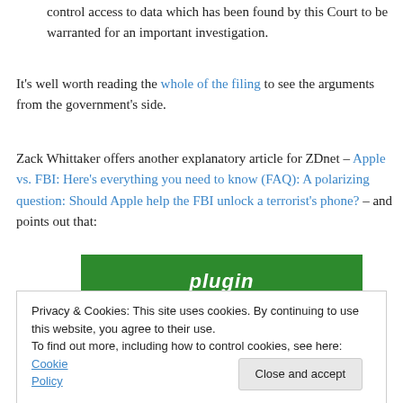control access to data which has been found by this Court to be warranted for an important investigation.
It's well worth reading the whole of the filing to see the arguments from the government's side.
Zack Whittaker offers another explanatory article for ZDnet – Apple vs. FBI: Here's everything you need to know (FAQ): A polarizing question: Should Apple help the FBI unlock a terrorist's phone? – and points out that:
[Figure (screenshot): Green banner showing partial text 'plugin' in white bold italic text on green background]
Privacy & Cookies: This site uses cookies. By continuing to use this website, you agree to their use.
To find out more, including how to control cookies, see here: Cookie Policy
Close and accept